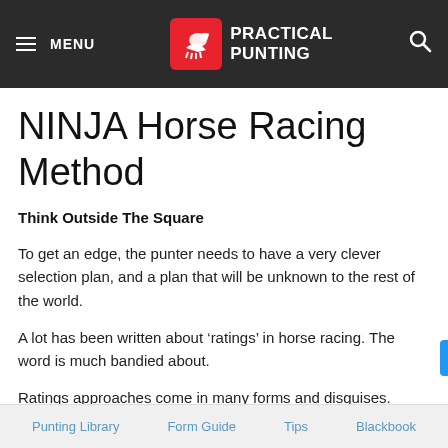MENU | PRACTICAL PUNTING
NINJA Horse Racing Method
Think Outside The Square
To get an edge, the punter needs to have a very clever selection plan, and a plan that will be unknown to the rest of the world.
A lot has been written about ‘ratings’ in horse racing. The word is much bandied about.
Ratings approaches come in many forms and disguises. Some take into account a wide range of variable – often too many! Others are simple
Punting Library   Form Guide   Tips   Blackbook